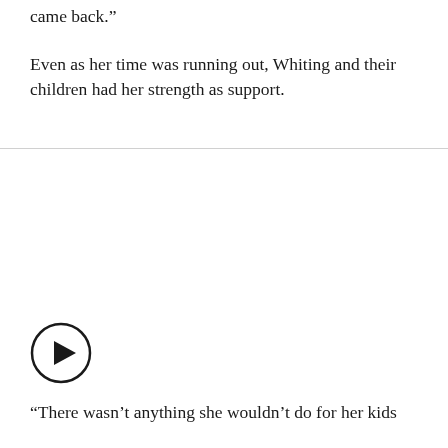came back.”
Even as her time was running out, Whiting and their children had her strength as support.
[Figure (other): Video play button icon - circular button with play triangle]
“There wasn’t anything she wouldn’t do for her kids